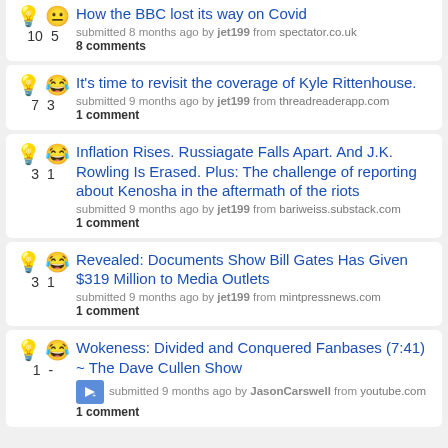How the BBC lost its way on Covid
submitted 8 months ago by jet199 from spectator.co.uk
8 comments
Votes: 10, 5
It's time to revisit the coverage of Kyle Rittenhouse.
submitted 9 months ago by jet199 from threadreaderapp.com
1 comment
Votes: 7, 3
Inflation Rises. Russiagate Falls Apart. And J.K. Rowling Is Erased. Plus: The challenge of reporting about Kenosha in the aftermath of the riots
submitted 9 months ago by jet199 from bariweiss.substack.com
1 comment
Votes: 3, 1
Revealed: Documents Show Bill Gates Has Given $319 Million to Media Outlets
submitted 9 months ago by jet199 from mintpressnews.com
1 comment
Votes: 3, 1
Wokeness: Divided and Conquered Fanbases (7:41) ~ The Dave Cullen Show
submitted 9 months ago by JasonCarswell from youtube.com
1 comment
Votes: 1, -